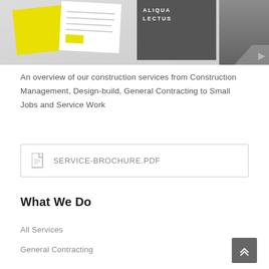[Figure (photo): Brochure/booklet mockup showing yellow, white, and dark-colored panels with text 'ALIQUA LECTUS', set against a light gray background]
An overview of our construction services from Construction Management, Design-build, General Contracting to Small Jobs and Service Work
[Figure (other): PDF attachment link box showing a document icon and the filename SERVICE-BROCHURE.PDF]
What We Do
All Services
General Contracting